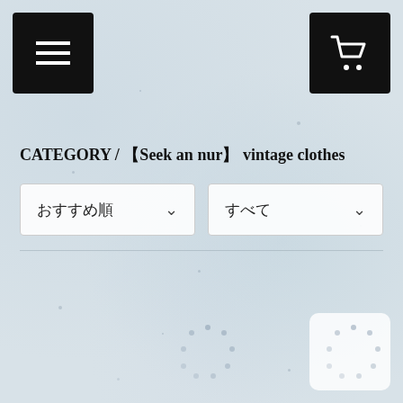[Figure (screenshot): Top navigation bar with hamburger menu button on left and shopping cart button on right, both black square buttons]
CATEGORY / 【Seek an nur】 vintage clothes
おすすめ順
すべて
[Figure (other): Loading spinner circle (dotted) on left side of grid]
[Figure (other): Loading spinner circle (dotted) on right side of grid with white card background]